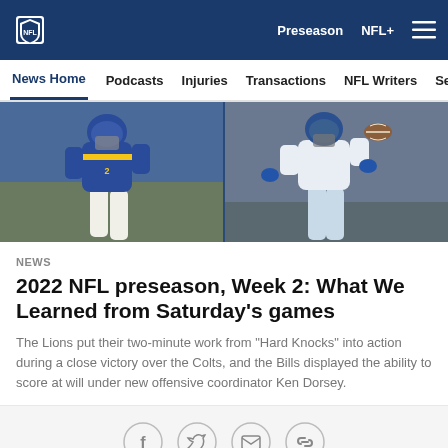NFL | Preseason | NFL+ | [menu]
News Home | Podcasts | Injuries | Transactions | NFL Writers | Se
[Figure (photo): Two NFL players in action during a preseason game. Left side shows a player in blue and yellow uniform (Rams), right side shows a player in white uniform catching a football.]
NEWS
2022 NFL preseason, Week 2: What We Learned from Saturday's games
The Lions put their two-minute work from "Hard Knocks" into action during a close victory over the Colts, and the Bills displayed the ability to score at will under new offensive coordinator Ken Dorsey.
[Facebook] [Twitter] [Email] [Link]